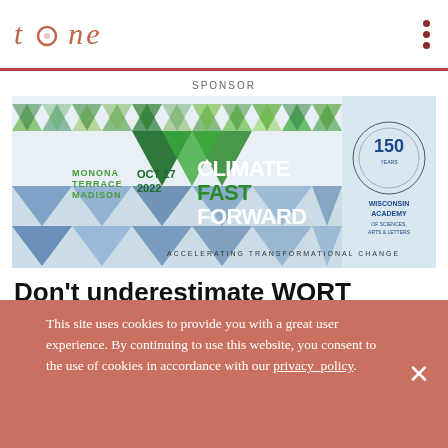tone
SPONSOR
[Figure (photo): Climate Fast Forward event banner: Oct 17, 2022, Monona Terrace, Madison – Accelerating Transformational Change. With Wisconsin Academy of Sciences, Arts & Letters 150 logo.]
Don't underestimate WORT
BY SCOTT GORDON • CULTURE • AUGUST 10, 2018
[Figure (infographic): Social sharing icons: Facebook, Twitter, LinkedIn, Reddit, WhatsApp, Email, Bookmark]
This site uses cookies to provide you with a great user experience. By continuing to use this website, you consent to the use of cookies in accordance with our privacy_policy.